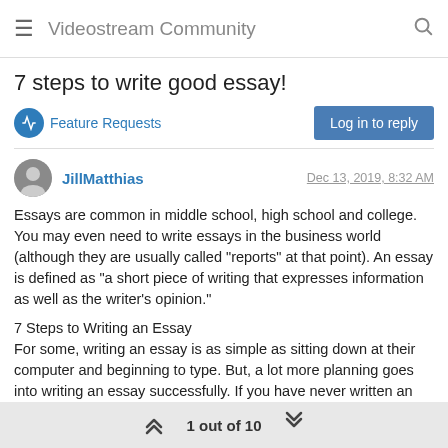Videostream Community
7 steps to write good essay!
Feature Requests
Log in to reply
JillMatthias   Dec 13, 2019, 8:32 AM
Essays are common in middle school, high school and college. You may even need to write essays in the business world (although they are usually called "reports" at that point). An essay is defined as "a short piece of writing that expresses information as well as the writer's opinion."
7 Steps to Writing an Essay
For some, writing an essay is as simple as sitting down at their computer and beginning to type. But, a lot more planning goes into writing an essay successfully. If you have never written an essay before, or if you struggle with writing and want to improve your
1 out of 10